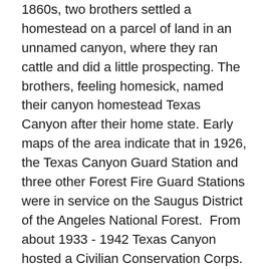1860s, two brothers settled a homestead on a parcel of land in an unnamed canyon, where they ran cattle and did a little prospecting. The brothers, feeling homesick, named their canyon homestead Texas Canyon after their home state. Early maps of the area indicate that in 1926, the Texas Canyon Guard Station and three other Forest Fire Guard Stations were in service on the Saugus District of the Angeles National Forest.  From about 1933 - 1942 Texas Canyon hosted a Civilian Conservation Corps. Camp, which was part of the New Deal of President Franklin D. Roosevelt.
In the 1950s, the U.S. Forest Service received an Army Corps of Engineers contract for a stabilization and drainage project on a road under construction to the Nike Missile base at Los Pinetos (LA County Camp 9). Dick Dorn, who was superintendent of the Texas Canyon Hotshots at the time, was charged with obtaining additional manpower. Rather than hire locals, Dorn opted to recruit Native Americans